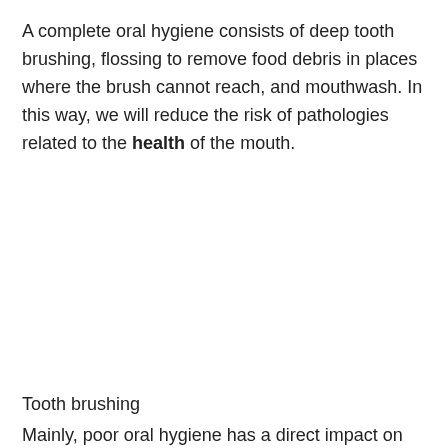A complete oral hygiene consists of deep tooth brushing, flossing to remove food debris in places where the brush cannot reach, and mouthwash. In this way, we will reduce the risk of pathologies related to the health of the mouth.
Tooth brushing
Mainly, poor oral hygiene has a direct impact on dental